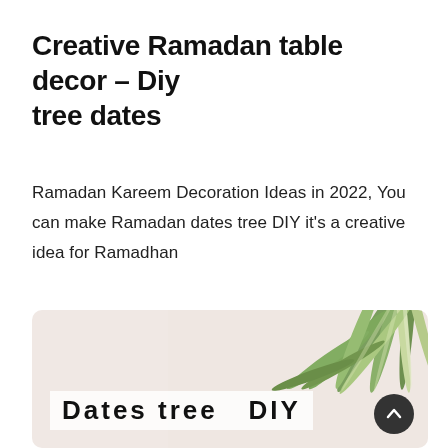Creative Ramadan table decor – Diy tree dates
Ramadan Kareem Decoration Ideas in 2022, You can make Ramadan dates tree DIY it's a creative idea for Ramadhan
[Figure (photo): Photo of a plant with green leaves against a light pinkish-beige background, with overlay text 'Dates tree DIY' and a scroll-up button in the bottom right corner.]